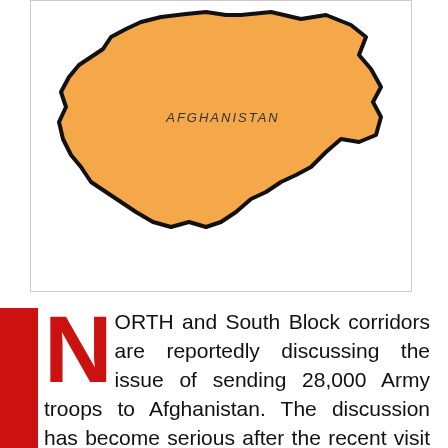[Figure (map): Map of Afghanistan, orange-filled country outline with 'AFGHANISTAN' label in the center, black border, white background.]
NORTH and South Block corridors are reportedly discussing the issue of sending 28,000 Army troops to Afghanistan. The discussion has become serious after the recent visit of Prime Minister Modi to USA. Sources disclosed that US Army think tanks are of the opinion that USA should pull out their troops immediately from the conflict zone of Afghanistan. The question is, who can possibly bail out the US from the crisis? They have zeroed down on India to bail